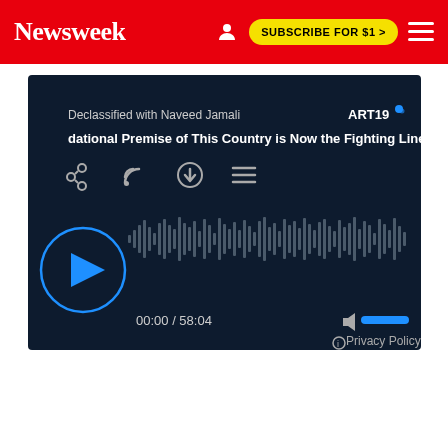Newsweek | SUBSCRIBE FOR $1 >
[Figure (screenshot): ART19 podcast player embedded on Newsweek page showing 'Declassified with Naveed Jamali' episode titled 'The Foundational Premise of This Country is Now the Fighting Line', with play button, waveform visualization, timestamp 00:00 / 58:04, volume control, and Privacy Policy link]